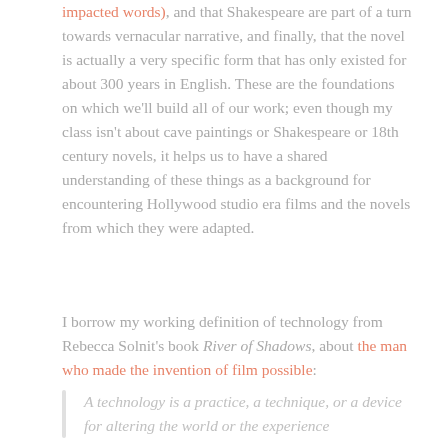impacted words), and that Shakespeare are part of a turn towards vernacular narrative, and finally, that the novel is actually a very specific form that has only existed for about 300 years in English. These are the foundations on which we'll build all of our work; even though my class isn't about cave paintings or Shakespeare or 18th century novels, it helps us to have a shared understanding of these things as a background for encountering Hollywood studio era films and the novels from which they were adapted.
I borrow my working definition of technology from Rebecca Solnit's book River of Shadows, about the man who made the invention of film possible:
A technology is a practice, a technique, or a device for altering the world or the experience